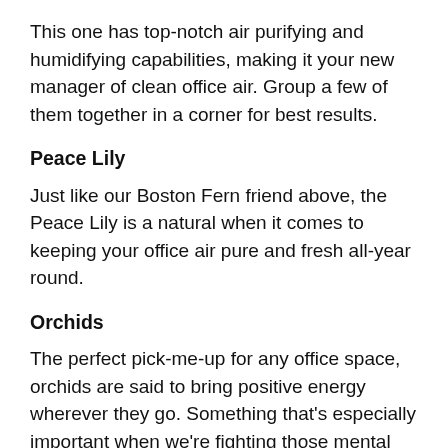This one has top-notch air purifying and humidifying capabilities, making it your new manager of clean office air. Group a few of them together in a corner for best results.
Peace Lily
Just like our Boston Fern friend above, the Peace Lily is a natural when it comes to keeping your office air pure and fresh all-year round.
Orchids
The perfect pick-me-up for any office space, orchids are said to bring positive energy wherever they go. Something that's especially important when we're fighting those mental fatigue vibes.
I'm off to snap up one of each... why not share this article with your own millenial clients on socials? I have no doubt they'll appreciate the brain power boost!